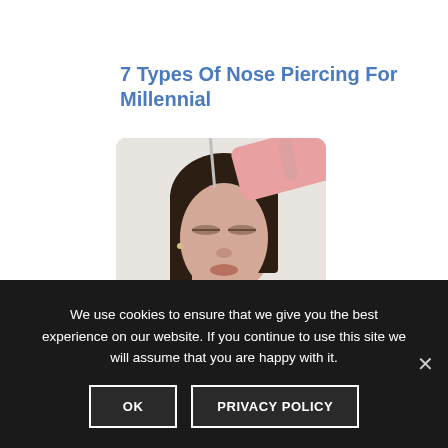7 Types Of Nose Piercing For Millennial
[Figure (photo): A woman with dark hair having a piercing or injection procedure done near her nose/forehead by a person wearing pink gloves holding a needle.]
We use cookies to ensure that we give you the best experience on our website. If you continue to use this site we will assume that you are happy with it.
OK
PRIVACY POLICY